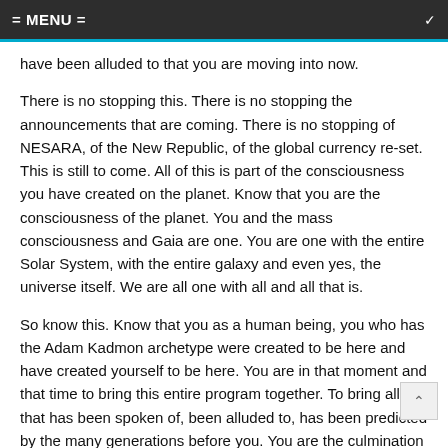= MENU =
have been alluded to that you are moving into now.
There is no stopping this. There is no stopping the announcements that are coming. There is no stopping of NESARA, of the New Republic, of the global currency re-set. This is still to come. All of this is part of the consciousness you have created on the planet. Know that you are the consciousness of the planet. You and the mass consciousness and Gaia are one. You are one with the entire Solar System, with the entire galaxy and even yes, the universe itself. We are all one with all and all that is.
So know this. Know that you as a human being, you who has the Adam Kadmon archetype were created to be here and have created yourself to be here. You are in that moment and that time to bring this entire program together. To bring all that has been spoken of, been alluded to, has been predicted by the many generations before you. You are the culmination of that now.